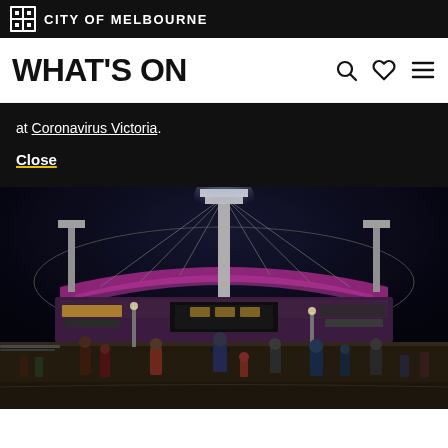CITY OF MELBOURNE
WHAT'S ON
at Coronavirus Victoria.
Close
[Figure (photo): Night photo of Melbourne Cricket Ground (MCG) stadium illuminated with purple/pink lights, with crowds of people walking outside in the foreground]